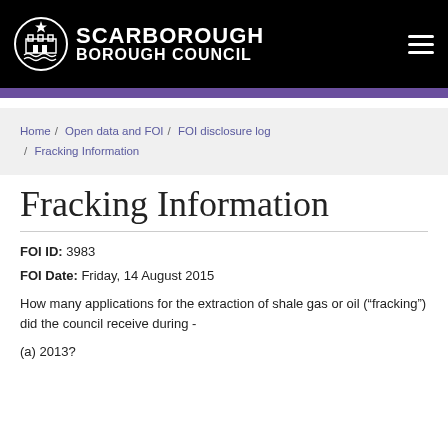Scarborough Borough Council
Home / Open data and FOI / FOI disclosure log / Fracking Information
Fracking Information
FOI ID: 3983
FOI Date: Friday, 14 August 2015
How many applications for the extraction of shale gas or oil (“fracking”) did the council receive during -
(a) 2013?